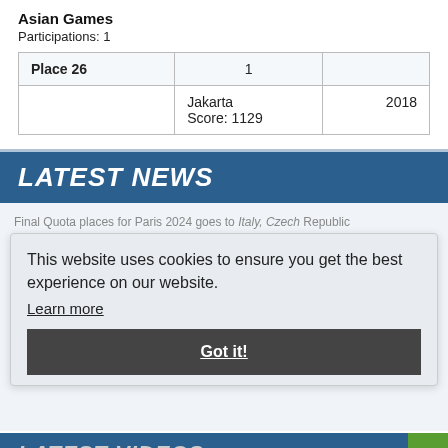Asian Games
Participations: 1
| Place 26 | 1 |  |
| --- | --- | --- |
|  | Jakarta
Score: 1129 | 2018 |
LATEST NEWS
Final Quota places for Paris 2024 goes to Italy, Czech Republic and Slovakia »
... information »
... Isabel in France: Today and wins the last final in Antalya »
Korea and China take Gold in Kazakhstan »
This website uses cookies to ensure you get the best experience on our website.
Learn more
Got it!
LATEST VIDEOS